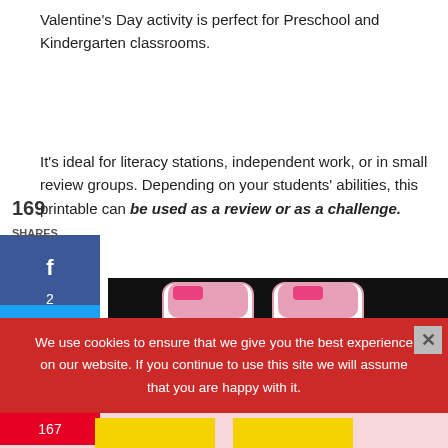Valentine's Day activity is perfect for Preschool and Kindergarten classrooms.
169
SHARES
It's ideal for literacy stations, independent work, or in small review groups. Depending on your students' abilities, this printable can be used as a review or as a challenge.
[Figure (photo): Educational card game printable with pink and black design showing letter tiles, on dark background]
We use cookies to ensure that we give you the best experience on our website. If you continue to use this site we will assume that you are happy with it.